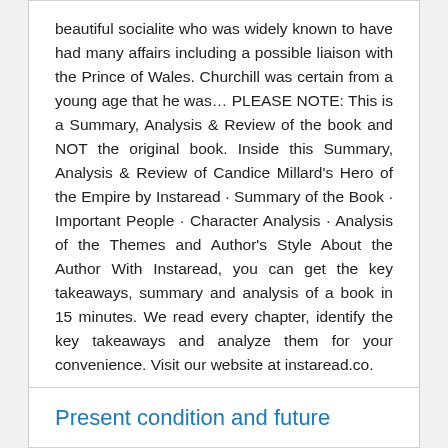beautiful socialite who was widely known to have had many affairs including a possible liaison with the Prince of Wales. Churchill was certain from a young age that he was… PLEASE NOTE: This is a Summary, Analysis & Review of the book and NOT the original book. Inside this Summary, Analysis & Review of Candice Millard's Hero of the Empire by Instaread · Summary of the Book · Important People · Character Analysis · Analysis of the Themes and Author's Style About the Author With Instaread, you can get the key takeaways, summary and analysis of a book in 15 minutes. We read every chapter, identify the key takeaways and analyze them for your convenience. Visit our website at instaread.co.
Present condition and future